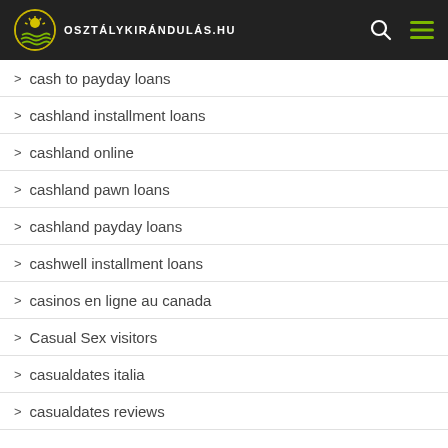osztálykirándulás.hu
cash to payday loans
cashland installment loans
cashland online
cashland pawn loans
cashland payday loans
cashwell installment loans
casinos en ligne au canada
Casual Sex visitors
casualdates italia
casualdates reviews